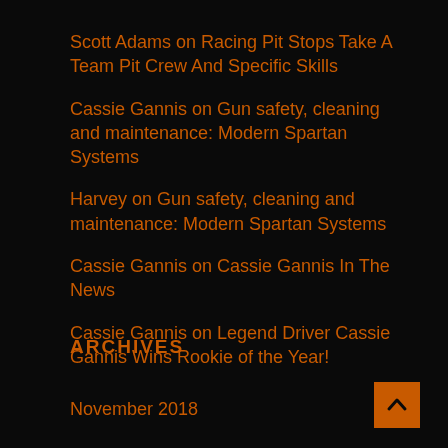Scott Adams on Racing Pit Stops Take A Team Pit Crew And Specific Skills
Cassie Gannis on Gun safety, cleaning and maintenance: Modern Spartan Systems
Harvey on Gun safety, cleaning and maintenance: Modern Spartan Systems
Cassie Gannis on Cassie Gannis In The News
Cassie Gannis on Legend Driver Cassie Gannis Wins Rookie of the Year!
ARCHIVES
November 2018